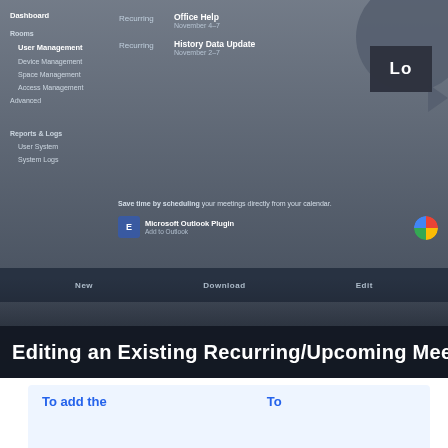[Figure (screenshot): Screenshot of a meeting scheduling software interface showing a sidebar with navigation items (Dashboard, User Management, Device Management, Space Management, Access Management, Advanced), a main area with recurring meetings listed (Office Help, History Data Update), a calendar integration section with Microsoft Outlook Plugin and Google Calendar options, a bottom toolbar with New/Download/Edit buttons, and a dark overlay with a play button circle in the top right.]
Editing an Existing Recurring/Upcoming Meeting to
To add the